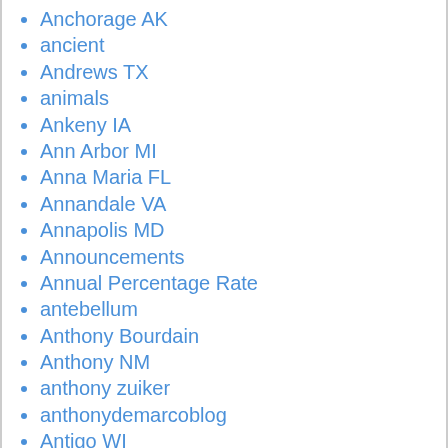Anchorage AK
ancient
Andrews TX
animals
Ankeny IA
Ann Arbor MI
Anna Maria FL
Annandale VA
Annapolis MD
Announcements
Annual Percentage Rate
antebellum
Anthony Bourdain
Anthony NM
anthony zuiker
anthonydemarcoblog
Antigo WI
antique
apartment